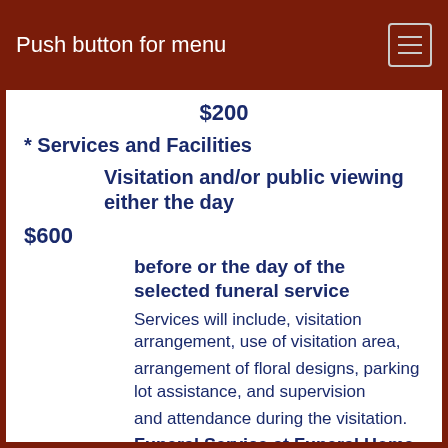Push button for menu
$200
* Services and Facilities
Visitation and/or public viewing either the day
$600
before or the day of the selected funeral service
Services will include, visitation arrangement, use of visitation area,
arrangement of floral designs, parking lot assistance, and supervision
and attendance during the visitation.
Funeral Service at Funeral Home